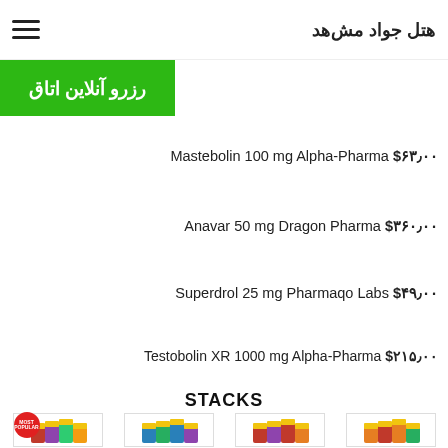هتل جواد مشه
[Figure (illustration): Green button with Persian text: رزرو آنلاین اتاق]
Mastebolin 100 mg Alpha-Pharma $۶۳٫۰۰
Anavar 50 mg Dragon Pharma $۳۶۰٫۰۰
Superdrol 25 mg Pharmaqo Labs $۴۹٫۰۰
Testobolin XR 1000 mg Alpha-Pharma $۲۱۵٫۰۰
STACKS
[Figure (illustration): Four product stack images: BULKING STACK, CUTTING STACK, ULTIMATE STACK, GROWTH HORMONE STACK. First item has MOST POPULAR badge.]